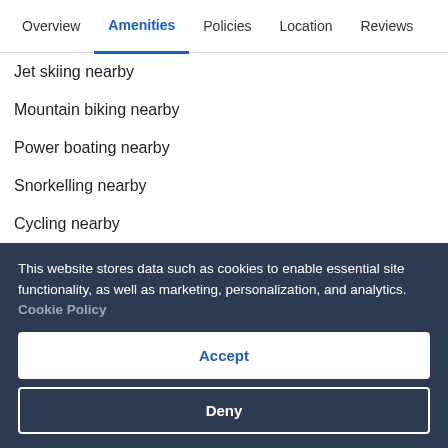Overview  Amenities  Policies  Location  Reviews
Jet skiing nearby
Mountain biking nearby
Power boating nearby
Snorkelling nearby
Cycling nearby
Rock climbing nearby
Hiking/biking trails nearby
Wildlife and game walks nearby
Fishing nearby
This website stores data such as cookies to enable essential site functionality, as well as marketing, personalization, and analytics. Cookie Policy
Accept
Deny